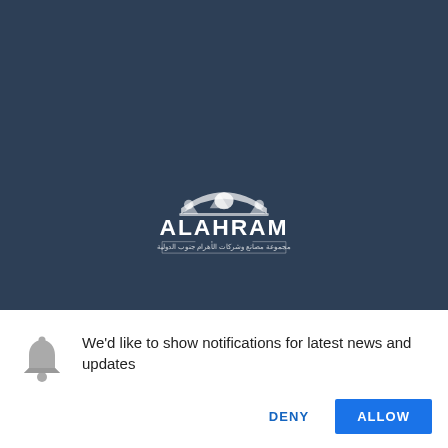[Figure (logo): ALAHRAM logo with Arabic text and decorative arch/building motif in white on dark blue background]
We'd like to show notifications for latest news and updates
DENY
ALLOW